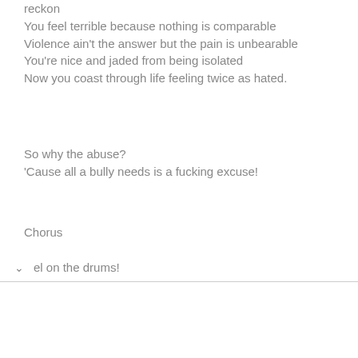reckon
You feel terrible because nothing is comparable
Violence ain't the answer but the pain is unbearable
You're nice and jaded from being isolated
Now you coast through life feeling twice as hated.
So why the abuse?
'Cause all a bully needs is a fucking excuse!
Chorus
el on the drums!